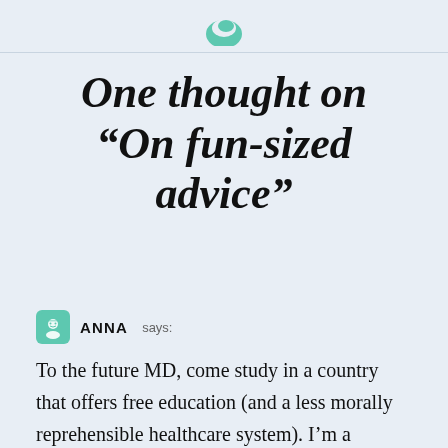One thought on “On fun-sized advice”
ANNA says:
To the future MD, come study in a country that offers free education (and a less morally reprehensible healthcare system). I’m a medical student in France, and apart from the first and maybe fifth and sixth years of medical studies, it’s hard